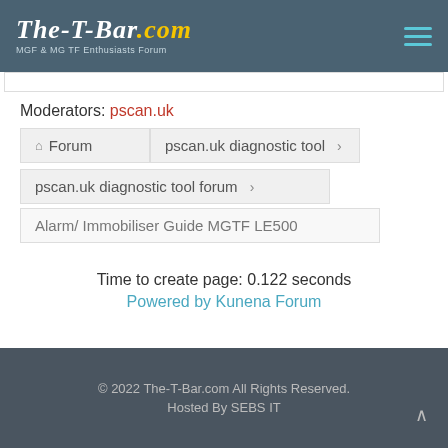The-T-Bar.com MGF & MG TF Enthusiasts Forum
Moderators: pscan.uk
Forum > pscan.uk diagnostic tool >
pscan.uk diagnostic tool forum >
Alarm/ Immobiliser Guide MGTF LE500
Time to create page: 0.122 seconds
Powered by Kunena Forum
© 2022 The-T-Bar.com All Rights Reserved. Hosted By SEBS IT